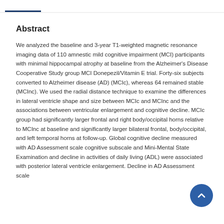Abstract
We analyzed the baseline and 3-year T1-weighted magnetic resonance imaging data of 110 amnestic mild cognitive impairment (MCI) participants with minimal hippocampal atrophy at baseline from the Alzheimer's Disease Cooperative Study group MCI Donepezil/Vitamin E trial. Forty-six subjects converted to Alzheimer disease (AD) (MCIc), whereas 64 remained stable (MCInc). We used the radial distance technique to examine the differences in lateral ventricle shape and size between MCIc and MCInc and the associations between ventricular enlargement and cognitive decline. MCIc group had significantly larger frontal and right body/occipital horns relative to MCInc at baseline and significantly larger bilateral frontal, body/occipital, and left temporal horns at follow-up. Global cognitive decline measured with AD Assessment scale cognitive subscale and Mini-Mental State Examination and decline in activities of daily living (ADL) were associated with posterior lateral ventricle enlargement. Decline in AD Assessment scale